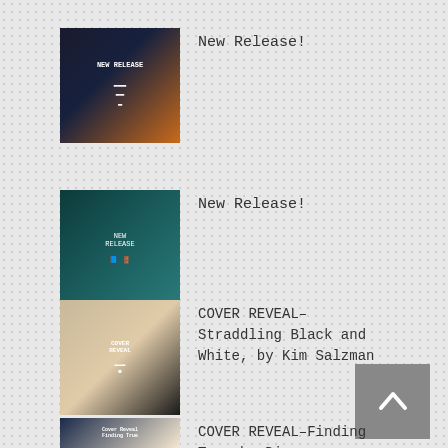[Figure (illustration): Book cover thumbnail with dark background and orange glow, labeled New Release]
New Release!
[Figure (illustration): Book cover thumbnail with teal/dark blue tones, labeled New Release]
New Release!
[Figure (illustration): Cover Reveal thumbnail showing desert landscape and dark cover]
COVER REVEAL–Straddling Black and White, by Kim Salzman
[Figure (illustration): Cover Reveal thumbnail for Finding True by Dianne]
COVER REVEAL–Finding True, by Dianne